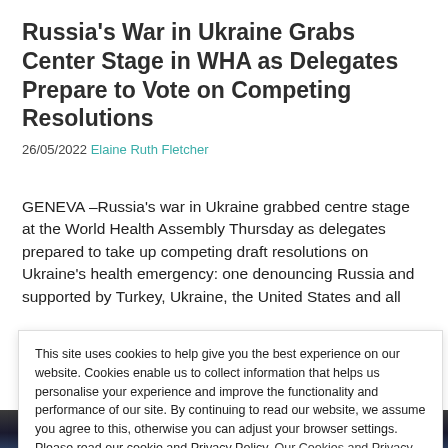Russia's War in Ukraine Grabs Center Stage in WHA as Delegates Prepare to Vote on Competing Resolutions
26/05/2022 Elaine Ruth Fletcher
GENEVA –Russia's war in Ukraine grabbed centre stage at the World Health Assembly Thursday as delegates prepared to take up competing draft resolutions on Ukraine's health emergency: one denouncing Russia and supported by Turkey, Ukraine, the United States and all
This site uses cookies to help give you the best experience on our website. Cookies enable us to collect information that helps us personalise your experience and improve the functionality and performance of our site. By continuing to read our website, we assume you agree to this, otherwise you can adjust your browser settings. Please read our cookie and Privacy Policy. Our Cookies and Privacy Policy
Close and accept
[Figure (photo): Photo strip at bottom of page showing people, partially visible]